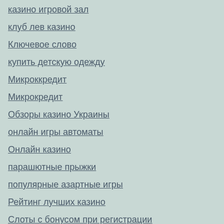казино игровой зал
клуб лев казино
Ключевое слово
купить детскую одежду
Микроккредит
Микрокредит
Обзоры казино Украины
онлайн игры автоматы
Онлайн казино
парашютные прыжки
популярные азартные игры
Рейтинг лучших казино
Слоты с бонусом при регистрации
слоты с джекпотом